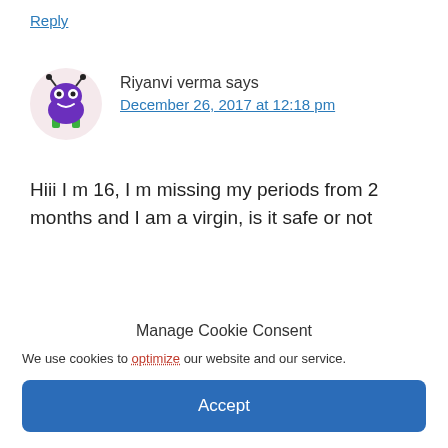Reply
Riyanvi verma says
December 26, 2017 at 12:18 pm
Hiii I m 16, I m missing my periods from 2 months and I am a virgin, is it safe or not
Reply
Manage Cookie Consent
We use cookies to optimize our website and our service.
Accept